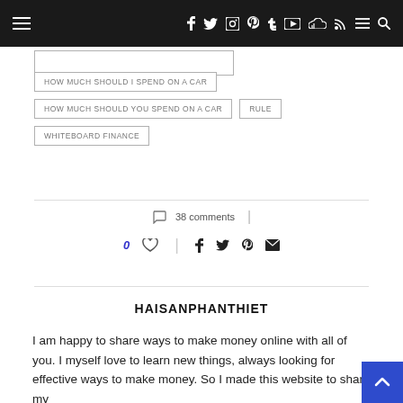Navigation bar with social icons: facebook, twitter, instagram, pinterest, tumblr, youtube, soundcloud, rss, menu, search
HOW MUCH SHOULD I SPEND ON A CAR
HOW MUCH SHOULD YOU SPEND ON A CAR
RULE
WHITEBOARD FINANCE
38 comments
0 likes, share icons: facebook, twitter, pinterest, email
HAISANPHANTHIET
I am happy to share ways to make money online with all of you. I myself love to learn new things, always looking for effective ways to make money. So I made this website to share my